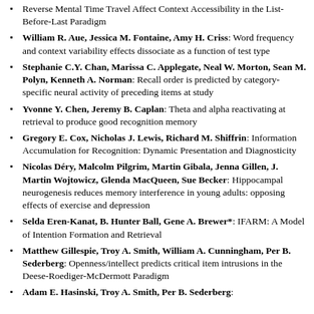Reverse Mental Time Travel Affect Context Accessibility in the List-Before-Last Paradigm
William R. Aue, Jessica M. Fontaine, Amy H. Criss: Word frequency and context variability effects dissociate as a function of test type
Stephanie C.Y. Chan, Marissa C. Applegate, Neal W. Morton, Sean M. Polyn, Kenneth A. Norman: Recall order is predicted by category-specific neural activity of preceding items at study
Yvonne Y. Chen, Jeremy B. Caplan: Theta and alpha reactivating at retrieval to produce good recognition memory
Gregory E. Cox, Nicholas J. Lewis, Richard M. Shiffrin: Information Accumulation for Recognition: Dynamic Presentation and Diagnosticity
Nicolas Déry, Malcolm Pilgrim, Martin Gibala, Jenna Gillen, J. Martin Wojtowicz, Glenda MacQueen, Sue Becker: Hippocampal neurogenesis reduces memory interference in young adults: opposing effects of exercise and depression
Selda Eren-Kanat, B. Hunter Ball, Gene A. Brewer*: IFARM: A Model of Intention Formation and Retrieval
Matthew Gillespie, Troy A. Smith, William A. Cunningham, Per B. Sederberg: Openness/intellect predicts critical item intrusions in the Deese-Roediger-McDermott Paradigm
Adam E. Hasinski, Troy A. Smith, Per B. Sederberg: